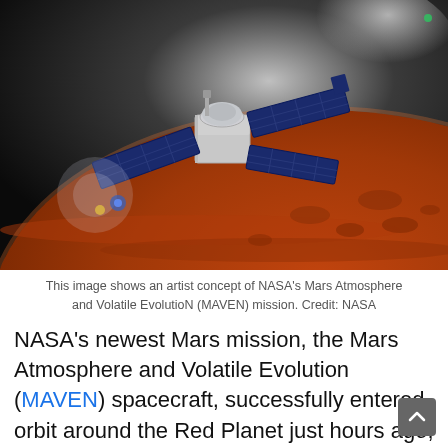[Figure (photo): Artist concept illustration of NASA's MAVEN spacecraft orbiting Mars, showing the spacecraft with solar panels and a silver dome-shaped body against the rust-colored Martian surface and dark space background.]
This image shows an artist concept of NASA's Mars Atmosphere and Volatile EvolutioN (MAVEN) mission. Credit: NASA
NASA's newest Mars mission, the Mars Atmosphere and Volatile Evolution (MAVEN) spacecraft, successfully entered orbit around the Red Planet just hours ago, on Sunday, Sept. 21, 2014, at 10:24 p.m. EDT, to conduct the first detailed study of the planet's